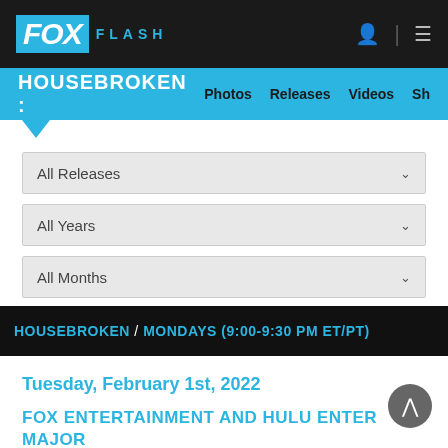FOX FLASH
HOUSEBROKEN : Photos Releases Videos Sh
All Releases
All Years
All Months
HOUSEBROKEN / MONDAYS (9:00-9:30 PM ET/PT)
Tuesday, February 1st, 2022
FOX ENTERTAINMENT AND HULU ENTER MAJOR